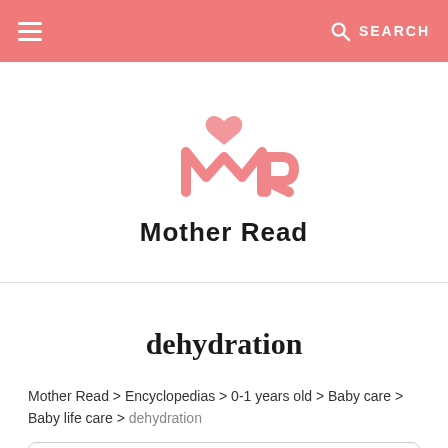Mother Read — SEARCH
[Figure (logo): Mother Read logo with stylized MR letters in pink and heart, text 'Mother Read' below]
dehydration
Mother Read > Encyclopedias > 0-1 years old > Baby care > Baby life care > dehydration
Table of Contents